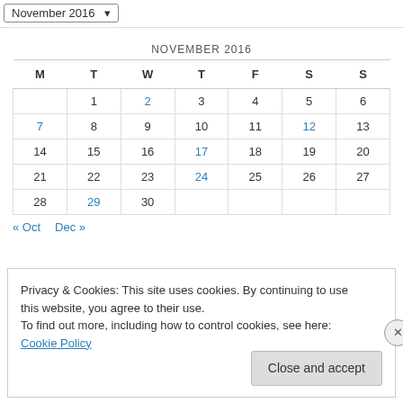November 2016
| M | T | W | T | F | S | S |
| --- | --- | --- | --- | --- | --- | --- |
|  | 1 | 2 | 3 | 4 | 5 | 6 |
| 7 | 8 | 9 | 10 | 11 | 12 | 13 |
| 14 | 15 | 16 | 17 | 18 | 19 | 20 |
| 21 | 22 | 23 | 24 | 25 | 26 | 27 |
| 28 | 29 | 30 |  |  |  |  |
« Oct   Dec »
Privacy & Cookies: This site uses cookies. By continuing to use this website, you agree to their use. To find out more, including how to control cookies, see here: Cookie Policy